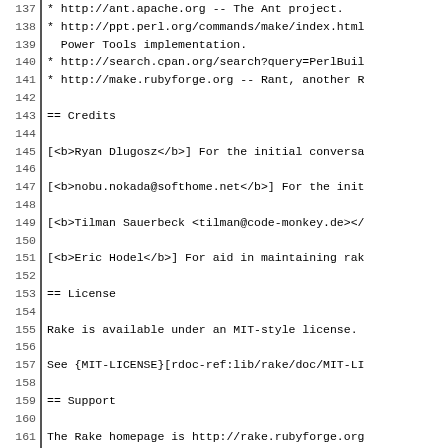137   * http://ant.apache.org -- The Ant project.
138   * http://ppt.perl.org/commands/make/index.html -- Power Tools implementation.
139     Power Tools implementation.
140   * http://search.cpan.org/search?query=PerlBui...
141   * http://make.rubyforge.org -- Rant, another R...
142
143 == Credits
144
145 [<b>Ryan Dlugosz</b>] For the initial conversa...
146
147 [<b>nobu.nokada@softhome.net</b>] For the init...
148
149 [<b>Tilman Sauerbeck <tilman@code-monkey.de><...
150
151 [<b>Eric Hodel</b>] For aid in maintaining rak...
152
153 == License
154
155 Rake is available under an MIT-style license.
156
157 See {MIT-LICENSE}[rdoc-ref:lib/rake/doc/MIT-LI...
158
159 == Support
160
161 The Rake homepage is http://rake.rubyforge.org...
162 RubyForge page at http://rubyforge.org/project...
163
164 Feel free to submit commits or feature request...
165 remember to update the corresponding unit test...
166 new feature to be submitted in the form of new...
167